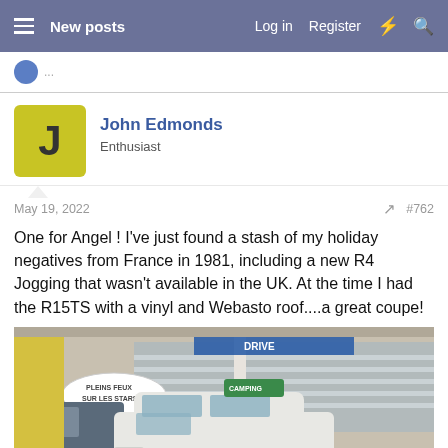New posts  Log in  Register
John Edmonds
Enthusiast
May 19, 2022  #762
One for Angel ! I've just found a stash of my holiday negatives from France in 1981, including a new R4 Jogging that wasn't available in the UK. At the time I had the R15TS with a vinyl and Webasto roof....a great coupe!
[Figure (photo): Vintage photo of a white Renault 4 car parked in front of a French shop with signs reading 'PLEINS FEUX SUR LES STARS' and another sign, taken in 1981]